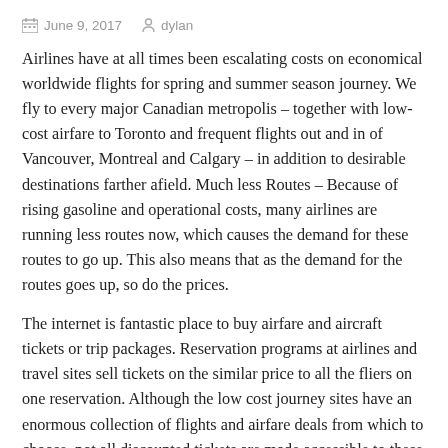June 9, 2017   dylan
Airlines have at all times been escalating costs on economical worldwide flights for spring and summer season journey. We fly to every major Canadian metropolis – together with low-cost airfare to Toronto and frequent flights out and in of Vancouver, Montreal and Calgary – in addition to desirable destinations farther afield. Much less Routes – Because of rising gasoline and operational costs, many airlines are running less routes now, which causes the demand for these routes to go up. This also means that as the demand for the routes goes up, so do the prices.
The internet is fantastic place to buy airfare and aircraft tickets or trip packages. Reservation programs at airlines and travel sites sell tickets on the similar price to all the fliers on one reservation. Although the low cost journey sites have an enormous collection of flights and airfare deals from which to choose, not all discounted tickets are made accessible to these sites.